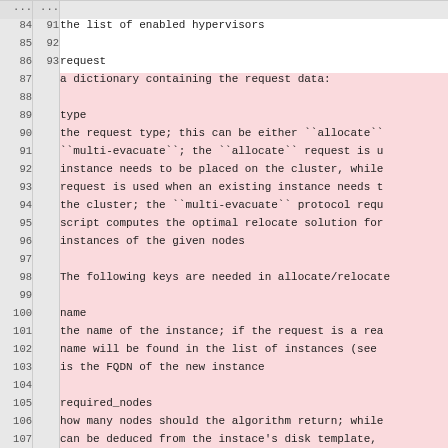| ln1 | ln2 | code |
| --- | --- | --- |
| ... | ... |  |
| 84 | 91 |     the list of enabled hypervisors |
| 85 | 92 |  |
| 86 | 93 | request |
| 87 |  |     a dictionary containing the request data: |
| 88 |  |  |
| 89 |  |     type |
| 90 |  |         the request type; this can be either ``allocate`` |
| 91 |  |         ``multi-evacuate``; the ``allocate`` request is u |
| 92 |  |         instance needs to be placed on the cluster, while |
| 93 |  |         request is used when an existing instance needs t |
| 94 |  |         the cluster; the ``multi-evacuate`` protocol requ |
| 95 |  |         script computes the optimal relocate solution for |
| 96 |  |         instances of the given nodes |
| 97 |  |  |
| 98 |  |     The following keys are needed in allocate/relocate |
| 99 |  |  |
| 100 |  |     name |
| 101 |  |         the name of the instance; if the request is a rea |
| 102 |  |         name will be found in the list of instances (see |
| 103 |  |         is the FQDN of the new instance |
| 104 |  |  |
| 105 |  |     required_nodes |
| 106 |  |         how many nodes should the algorithm return; while |
| 107 |  |         can be deduced from the instace's disk template, |
| 108 |  |         this computation is left to Ganeti as then alloca |